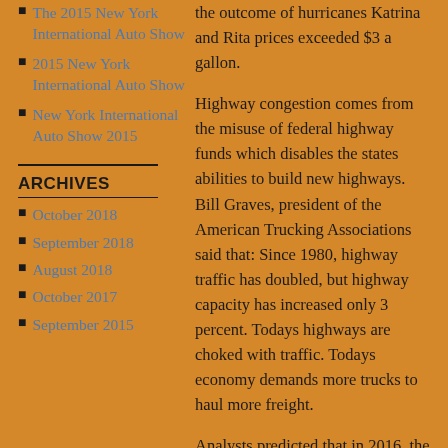the outcome of hurricanes Katrina and Rita prices exceeded $3 a gallon.
The 2015 New York International Auto Show
2015 New York International Auto Show
New York International Auto Show 2015
ARCHIVES
October 2018
September 2018
August 2018
October 2017
September 2015
Highway congestion comes from the misuse of federal highway funds which disables the states abilities to build new highways. Bill Graves, president of the American Trucking Associations said that: Since 1980, highway traffic has doubled, but highway capacity has increased only 3 percent. Todays highways are choked with traffic. Todays economy demands more trucks to haul more freight.
Analysts predicted that in 2016, the trucking solutions industry will transport 13 billion tons of freight, 3